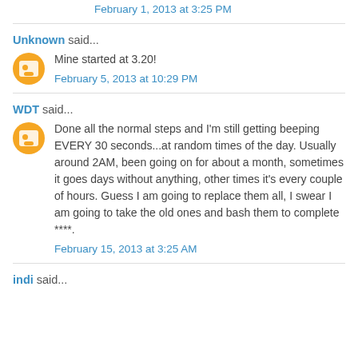February 1, 2013 at 3:25 PM
Unknown said...
Mine started at 3.20!
February 5, 2013 at 10:29 PM
WDT said...
Done all the normal steps and I'm still getting beeping EVERY 30 seconds...at random times of the day. Usually around 2AM, been going on for about a month, sometimes it goes days without anything, other times it's every couple of hours. Guess I am going to replace them all, I swear I am going to take the old ones and bash them to complete ****.
February 15, 2013 at 3:25 AM
indi said...